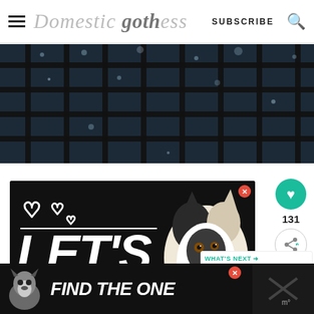Domestic Gothess  SUBSCRIBE
[Figure (photo): Close-up photo of dark metallic grid/wire mesh with water droplets, dark blue-grey background]
[Figure (photo): Advertisement showing a husky dog with white heart outline graphics and bold italic text reading LET'S BE on a black background]
[Figure (photo): Bottom banner ad showing a dog and bold italic white text FIND THE ONE on black background]
131
WHAT'S NEXT → Vegan Mince Pies